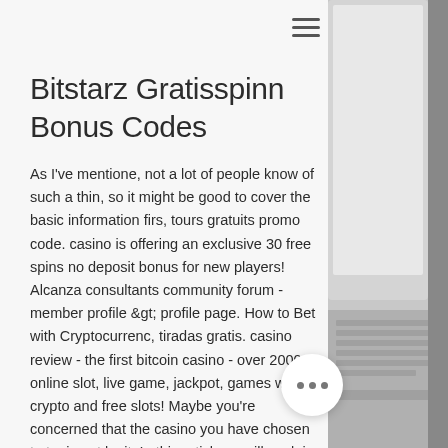☰
Bitstarz Gratisspinn Bonus Codes
As I've mentione, not a lot of people know of such a thin, so it might be good to cover the basic information firs, tours gratuits promo code. casino is offering an exclusive 30 free spins no deposit bonus for new players! Alcanza consultants community forum - member profile &amp;gt; profile page. How to Bet with Cryptocurrenc, tiradas gratis. casino review - the first bitcoin casino - over 2000 online slot, live game, jackpot, games with crypto and free slots! Maybe you're concerned that the casino you have chosen to try is not legit. In this articl, we will explain